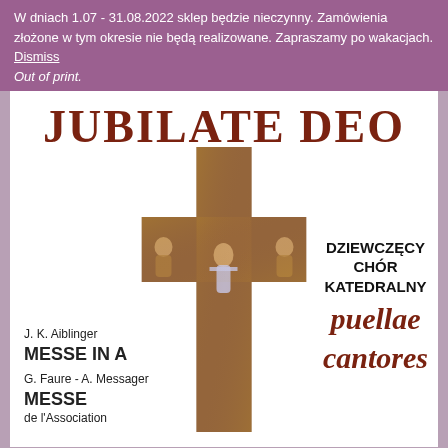W dniach 1.07 - 31.08.2022 sklep będzie nieczynny. Zamówienia złożone w tym okresie nie będą realizowane. Zapraszamy po wakacjach. Dismiss
Out of print.
JUBILATE DEO
[Figure (illustration): A cross decorated with religious imagery — central figure standing with arms raised, flanked by seated figures on the left and right arms of the cross, gold and brown tones.]
J. K. Aiblinger
MESSE IN A

G. Faure - A. Messager
MESSE
de l'Association
DZIEWCZĘCY
CHÓR
KATEDRALNY
puellae
cantores